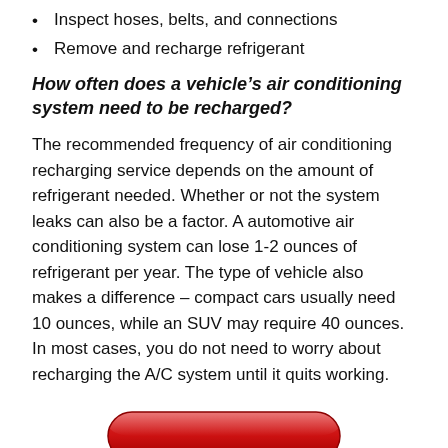Inspect hoses, belts, and connections
Remove and recharge refrigerant
How often does a vehicle’s air conditioning system need to be recharged?
The recommended frequency of air conditioning recharging service depends on the amount of refrigerant needed. Whether or not the system leaks can also be a factor. A automotive air conditioning system can lose 1-2 ounces of refrigerant per year. The type of vehicle also makes a difference – compact cars usually need 10 ounces, while an SUV may require 40 ounces. In most cases, you do not need to worry about recharging the A/C system until it quits working.
[Figure (other): Red rounded button partially visible at bottom of page]